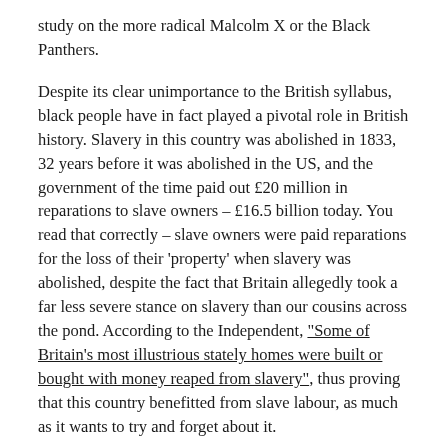study on the more radical Malcolm X or the Black Panthers.
Despite its clear unimportance to the British syllabus, black people have in fact played a pivotal role in British history. Slavery in this country was abolished in 1833, 32 years before it was abolished in the US, and the government of the time paid out £20 million in reparations to slave owners – £16.5 billion today. You read that correctly – slave owners were paid reparations for the loss of their 'property' when slavery was abolished, despite the fact that Britain allegedly took a far less severe stance on slavery than our cousins across the pond. According to the Independent, "Some of Britain's most illustrious stately homes were built or bought with money reaped from slavery", thus proving that this country benefitted from slave labour, as much as it wants to try and forget about it.